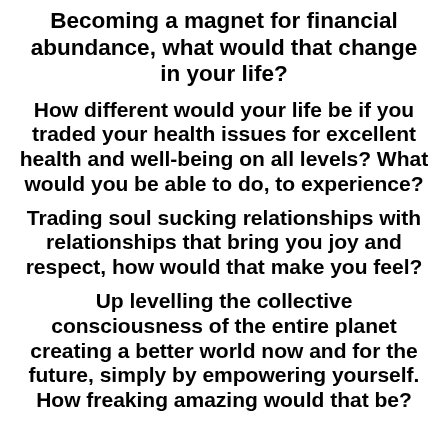Becoming a magnet for financial abundance, what would that change in your life?
How different would your life be if you traded your health issues for excellent health and well-being on all levels? What would you be able to do, to experience?
Trading soul sucking relationships with relationships that bring you joy and respect, how would that make you feel?
Up levelling the collective consciousness of the entire planet creating a better world now and for the future, simply by empowering yourself. How freaking amazing would that be?